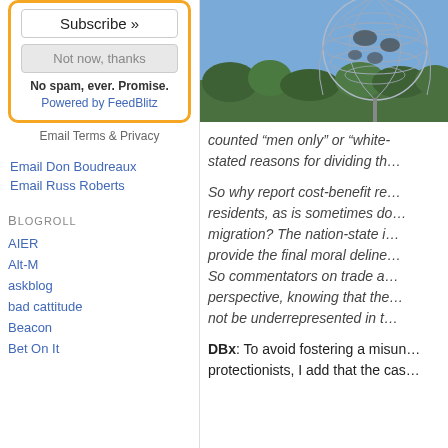Subscribe »
Not now, thanks
No spam, ever. Promise.
Powered by FeedBlitz
Email Terms & Privacy
Email Don Boudreaux
Email Russ Roberts
Blogroll
AIER
Alt-M
askblog
bad cattitude
Beacon
Bet On It
[Figure (photo): Photo of a large metallic globe sculpture (Unisphere) against a blue sky with trees in background]
counted “men only” or “white... stated reasons for dividing th...
So why report cost-benefit re... residents, as is sometimes do... migration? The nation-state i... provide the final moral deline... So commentators on trade a... perspective, knowing that the... not be underrepresented in t...
DBx: To avoid fostering a misun... protectionists, I add that the cas...